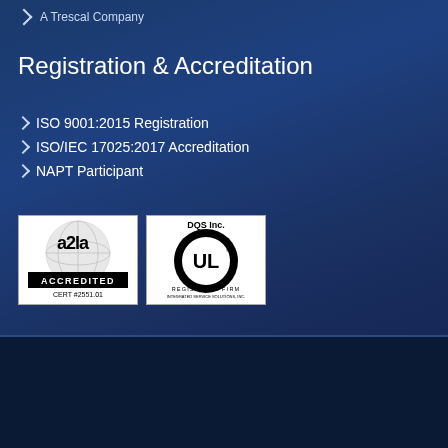A Trescal Company
Registration & Accreditation
ISO 9001:2015 Registration
ISO/IEC 17025:2017 Accreditation
NAPT Participant
[Figure (logo): A2LA Accredited logo with CERT #2551.01]
[Figure (logo): DQS Inc. UL Registered Firm logo showing ISO 9001:2015 certification]
© 2002-2020 Integrated Service Solutions Inc., A Trescal Company, All rights reserved.
Scroll to Top
Home | Sitemap | Search | Legal Notice | Contact